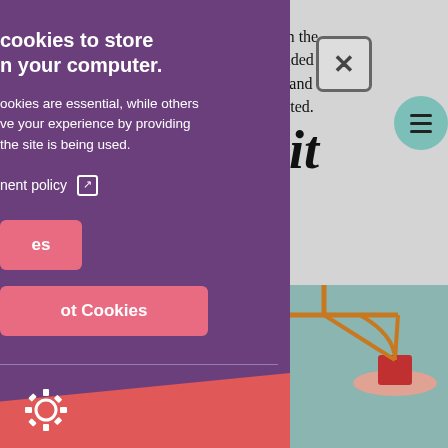services from the sector and provided comprehensive and c, conducted.
eficit
[Figure (illustration): Scales of justice illustration with orange balance beam, one side lower with red block and pink bowl]
cookies to store n your computer.
ookies are essential, while others ve your experience by providing the site is being used.
nent policy [external link icon]
es [Accept Cookies button]
ot Cookies [Reject Cookies button]